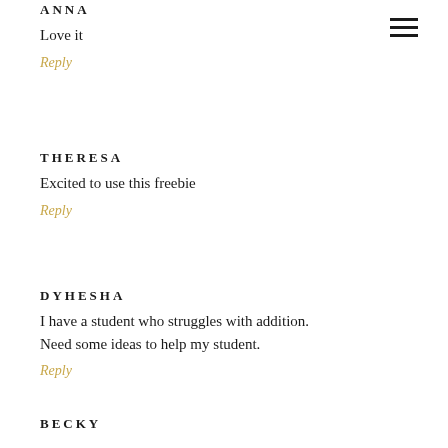ANNA
Love it
Reply
THERESA
Excited to use this freebie
Reply
DYHESHA
I have a student who struggles with addition. Need some ideas to help my student.
Reply
BECKY